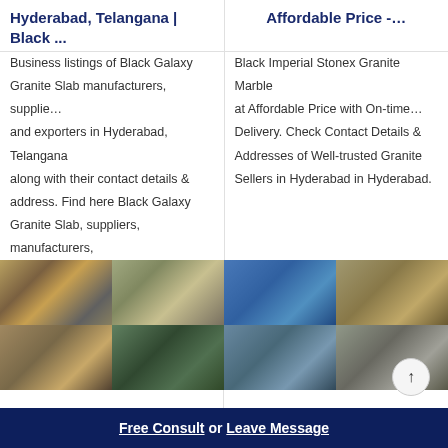Hyderabad, Telangana | Black ...
Affordable Price -…
Business listings of Black Galaxy Granite Slab manufacturers, supplie… and exporters in Hyderabad, Telangana along with their contact details & address. Find here Black Galaxy Granite Slab, suppliers, manufacturers,
Black Imperial Stonex Granite Marble at Affordable Price with On-time… Delivery. Check Contact Details & Addresses of Well-trusted Granite Sellers in Hyderabad in Hyderabad.
[Figure (photo): Four photos of granite quarry/mining equipment and machinery - left column]
[Figure (photo): Four photos of granite quarry/mining equipment and machinery - right column]
Black Granite in Hyderabad
The 10 Best Granite Manufacturers in Hyderabad...
Find Black Granite manufacturers, Black Granite suppliers, exporters
Gang saw slabs trade of granites sla... black galaxy, black granite, sunlu an
Free Consult  or  Leave Message